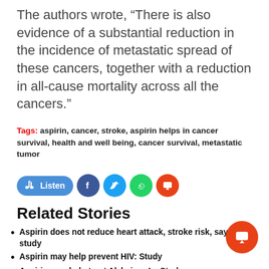The authors wrote, “There is also evidence of a substantial reduction in the incidence of metastatic spread of these cancers, together with a reduction in all-cause mortality across all the cancers.”
Tags: aspirin, cancer, stroke, aspirin helps in cancer survival, health and well being, cancer survival, metastatic tumor
[Figure (other): Social sharing bar with Listen button and social media icons (Facebook, Twitter, WhatsApp, comment)]
Related Stories
Aspirin does not reduce heart attack, stroke risk, says study
Aspirin may help prevent HIV: Study
Aspirin may help treat Alzheimer’s: Study